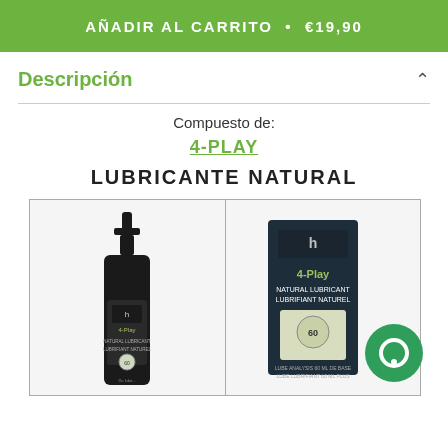AÑADIR AL CARRITO • €19,90
Descripción
Compuesto de:
4-PLAY
LUBRICANTE NATURAL
[Figure (photo): Product photo showing two views of 4-Play Natural Lubricant: a pump bottle on the left and a box packaging on the right, against white background with border.]